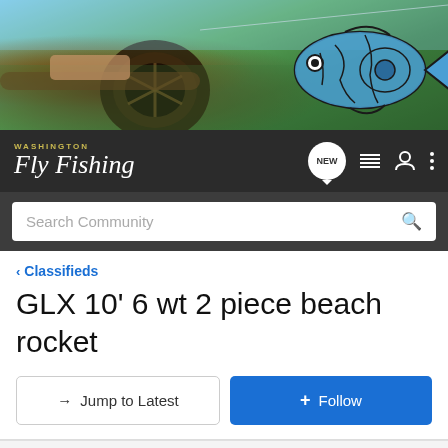[Figure (photo): Banner photo of fly fishing reel close-up with fish illustration on right side]
WASHINGTON Fly Fishing
Search Community
< Classifieds
GLX 10' 6 wt 2 piece beach rocket
→ Jump to Latest
+ Follow
Not open for further replies.
1 - 2 of 2 Posts